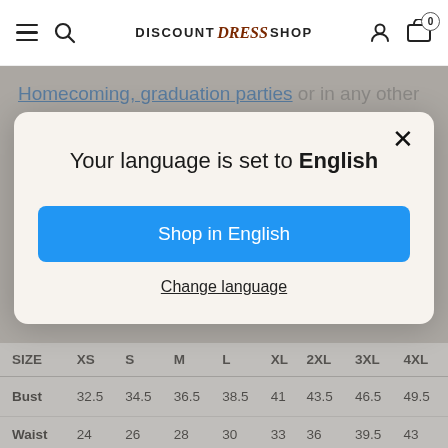Discount Dress Shop — navigation header with hamburger, search, logo, user, cart (0)
Homecoming, graduation parties or in any other special celebrations.
[Figure (screenshot): Language selection modal dialog with title 'Your language is set to English', a blue 'Shop in English' button, and a 'Change language' text link. Close button (×) in top right.]
| SIZE | XS | S | M | L | XL | 2XL | 3XL | 4XL |
| --- | --- | --- | --- | --- | --- | --- | --- | --- |
| Bust | 32.5 | 34.5 | 36.5 | 38.5 | 41 | 43.5 | 46.5 | 49.5 |
| Waist | 24 | 26 | 28 | 30 | 33 | 36 | 39.5 | 43 |